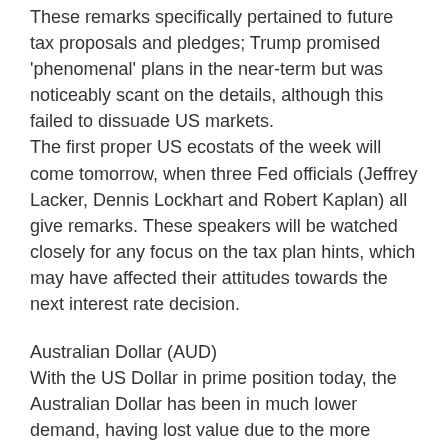These remarks specifically pertained to future tax proposals and pledges; Trump promised 'phenomenal' plans in the near-term but was noticeably scant on the details, although this failed to dissuade US markets.
The first proper US ecostats of the week will come tomorrow, when three Fed officials (Jeffrey Lacker, Dennis Lockhart and Robert Kaplan) all give remarks. These speakers will be watched closely for any focus on the tax plan hints, which may have affected their attitudes towards the next interest rate decision.
Australian Dollar (AUD)
With the US Dollar in prime position today, the Australian Dollar has been in much lower demand, having lost value due to the more attractive USD.
Australian news has been mixed and limited; while iron ore costs have risen consistently since February 6th, the International Monetary Fund (IMF) has warned the Reserve Bank of Australia (RBA) that it should cut interest rates to avoid persistent low inflation and growth levels.
Tuesday morning will bring an Australian confidence figure for February, while much later on another confidence measure is expected during the night.